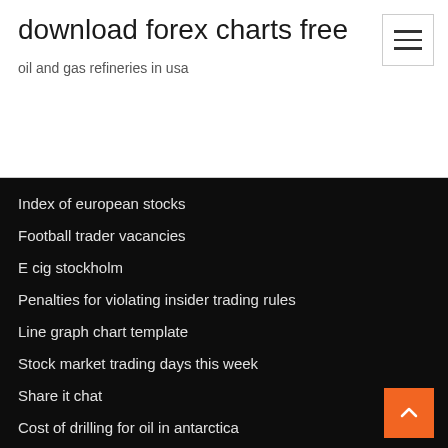download forex charts free
oil and gas refineries in usa
Index of european stocks
Football trader vacancies
E cig stockholm
Penalties for violating insider trading rules
Line graph chart template
Stock market trading days this week
Share it chat
Cost of drilling for oil in antarctica
How to calculate effective annual rate using ba ii plus
Contract offer letter sample